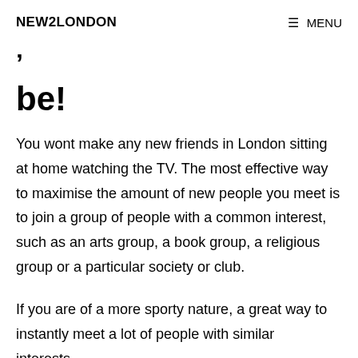NEW2LONDON  ≡ MENU
be!
You wont make any new friends in London sitting at home watching the TV. The most effective way to maximise the amount of new people you meet is to join a group of people with a common interest, such as an arts group, a book group, a religious group or a particular society or club.
If you are of a more sporty nature, a great way to instantly meet a lot of people with similar interests is joining a club/group...